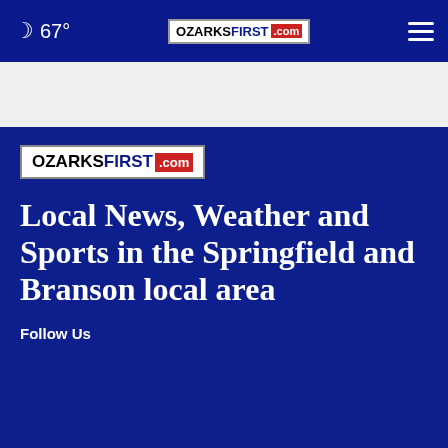67° OZARKSFIRST.com
[Figure (logo): OzarksFirst.com logo badge in content area]
Local News, Weather and Sports in the Springfield and Branson local area
Follow Us